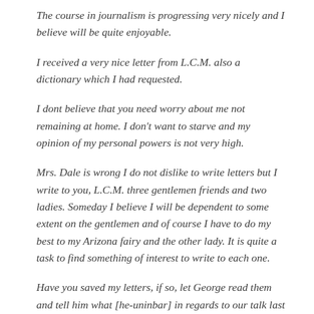The course in journalism is progressing very nicely and I believe will be quite enjoyable.
I received a very nice letter from L.C.M. also a dictionary which I had requested.
I dont believe that you need worry about me not remaining at home. I don't want to starve and my opinion of my personal powers is not very high.
Mrs. Dale is wrong I do not dislike to write letters but I write to you, L.C.M. three gentlemen friends and two ladies. Someday I believe I will be dependent to some extent on the gentlemen and of course I have to do my best to my Arizona fairy and the other lady. It is quite a task to find something of interest to write to each one.
Have you saved my letters, if so, let George read them and tell him what [he-uninbar] in regards to our talk last September. Tell him I want an